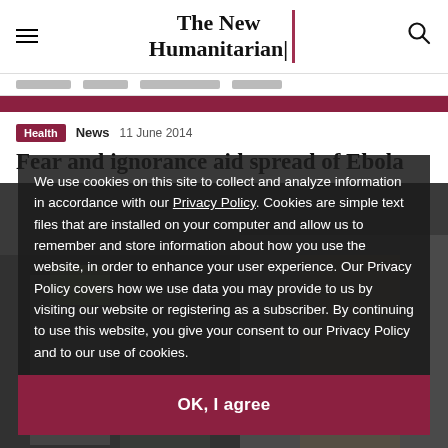The New Humanitarian
Health  News  11 June 2014
Fear and ignorance aid spread of Ebola
[Figure (photo): Photo of people in protective gear related to Ebola response, partially visible behind cookie consent overlay]
We use cookies on this site to collect and analyze information in accordance with our Privacy Policy. Cookies are simple text files that are installed on your computer and allow us to remember and store information about how you use the website, in order to enhance your user experience. Our Privacy Policy covers how we use data you may provide to us by visiting our website or registering as a subscriber. By continuing to use this website, you give your consent to our Privacy Policy and to our use of cookies.
OK, I agree